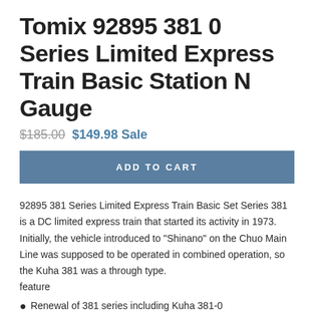Tomix 92895 381 0 Series Limited Express Train Basic Station N Gauge
$185.00  $149.98 Sale
ADD TO CART
92895 381 Series Limited Express Train Basic Set Series 381 is a DC limited express train that started its activity in 1973.
Initially, the vehicle introduced to "Shinano" on the Chuo Main Line was supposed to be operated in combined operation, so the Kuha 381 was a through type.
feature
Renewal of 381 series including Kuha 381-0